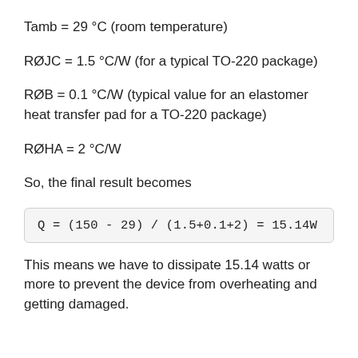Tamb = 29 °C (room temperature)
RØJC = 1.5 °C/W (for a typical TO-220 package)
RØB = 0.1 °C/W (typical value for an elastomer heat transfer pad for a TO-220 package)
RØHA = 2 °C/W
So, the final result becomes
This means we have to dissipate 15.14 watts or more to prevent the device from overheating and getting damaged.